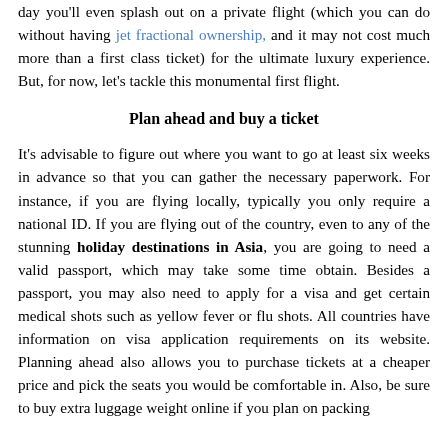day you'll even splash out on a private flight (which you can do without having jet fractional ownership, and it may not cost much more than a first class ticket) for the ultimate luxury experience. But, for now, let's tackle this monumental first flight.
Plan ahead and buy a ticket
It's advisable to figure out where you want to go at least six weeks in advance so that you can gather the necessary paperwork. For instance, if you are flying locally, typically you only require a national ID. If you are flying out of the country, even to any of the stunning holiday destinations in Asia, you are going to need a valid passport, which may take some time obtain. Besides a passport, you may also need to apply for a visa and get certain medical shots such as yellow fever or flu shots. All countries have information on visa application requirements on its website. Planning ahead also allows you to purchase tickets at a cheaper price and pick the seats you would be comfortable in. Also, be sure to buy extra luggage weight online if you plan on packing